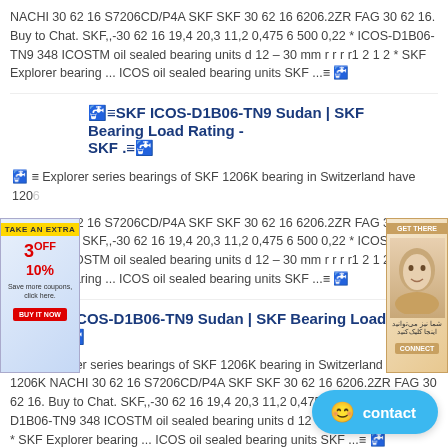NACHI 30 62 16 S7206CD/P4A SKF SKF 30 62 16 6206.2ZR FAG 30 62 16. Buy to Chat. SKF,,-30 62 16 19,4 20,3 11,2 0,475 6 500 0,22 * ICOS-D1B06-TN9 348 ICOSTM oil sealed bearing units d 12 – 30 mm r r r r1 2 1 2 * SKF Explorer bearing ... ICOS oil sealed bearing units SKF ...≡🖰
🖰≡SKF ICOS-D1B06-TN9 Sudan | SKF Bearing Load Rating - SKF .≡🖰
🖰≡ Explorer series bearings of SKF 1206K bearing in Switzerland have 1206K NACHI 30 62 16 S7206CD/P4A SKF SKF 30 62 16 6206.2ZR FAG 30 62 16. Buy to Chat. SKF,,-30 62 16 19,4 20,3 11,2 0,475 6 500 0,22 * ICOS-D1B06-TN9 348 ICOSTM oil sealed bearing units d 12 – 30 mm r r r r1 2 1 2 * SKF Explorer bearing ... ICOS oil sealed bearing units SKF ...≡🖰
🖰≡SKF ICOS-D1B06-TN9 Sudan | SKF Bearing Load Rating - SKF .≡🖰
🖰≡ Explorer series bearings of SKF 1206K bearing in Switzerland have 1206K NACHI 30 62 16 S7206CD/P4A SKF SKF 30 62 16 6206.2ZR FAG 30 62 16. Buy to Chat. SKF,,-30 62 16 19,4 20,3 11,2 0,475 6 500 0,22 * ICOS-D1B06-TN9 348 ICOSTM oil sealed bearing units d 12 – 30 mm r r r r1 2 1 2 * SKF Explorer bearing ... ICOS oil sealed bearing units SKF ...≡🖰
🖰≡SKF NNU4972BK/SPW33 bearing - NNU49 bearing for sa≡🖰